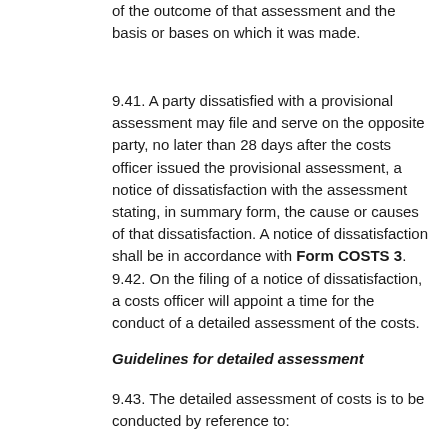of the outcome of that assessment and the basis or bases on which it was made.
9.41. A party dissatisfied with a provisional assessment may file and serve on the opposite party, no later than 28 days after the costs officer issued the provisional assessment, a notice of dissatisfaction with the assessment stating, in summary form, the cause or causes of that dissatisfaction. A notice of dissatisfaction shall be in accordance with Form COSTS 3.
9.42. On the filing of a notice of dissatisfaction, a costs officer will appoint a time for the conduct of a detailed assessment of the costs.
Guidelines for detailed assessment
9.43. The detailed assessment of costs is to be conducted by reference to: